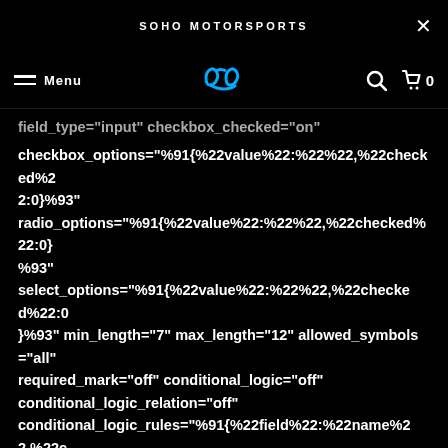SOHO MOTORSPORTS ×
Menu [logo] 0
field_type="input" checkbox_checked="on" checkbox_options="%91{%22value%22:%22%22,%22checked%22:0}%93" radio_options="%91{%22value%22:%22%22,%22checked%22:0}%93" select_options="%91{%22value%22:%22%22,%22checked%22:0}%93" min_length="7" max_length="12" allowed_symbols="all" required_mark="off" conditional_logic="off" conditional_logic_relation="off" conditional_logic_rules="%91{%22field%22:%22name%22,%22condition%22:%22is%22,%22value%22:%22%22}%93" use_background_color_gradient="off" background_color_gradient_start="#2b87da" background_color_gradient_end="#29c4a9" background_color_gradient_type="linear" background_color_gradient_direction="100deg"